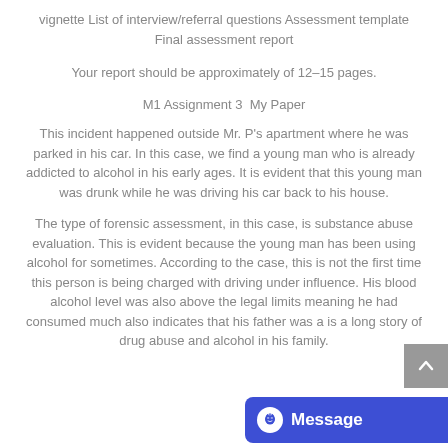vignette List of interview/referral questions Assessment template Final assessment report
Your report should be approximately of 12–15 pages.
M1 Assignment 3  My Paper
This incident happened outside Mr. P's apartment where he was parked in his car. In this case, we find a young man who is already addicted to alcohol in his early ages. It is evident that this young man was drunk while he was driving his car back to his house.
The type of forensic assessment, in this case, is substance abuse evaluation. This is evident because the young man has been using alcohol for sometimes. According to the case, this is not the first time this person is being charged with driving under influence. His blood alcohol level was also above the legal limits meaning he had consumed much also indicates that his father was a is a long story of drug abuse and alcohol in his family.